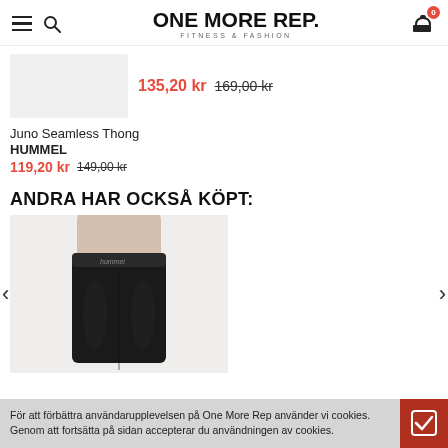ONE MORE REP. FITNESS & FASHION
[Figure (photo): Light gray product thumbnail placeholder]
135,20 kr 169,00 kr
Juno Seamless Thong
HUMMEL
119,20 kr 149,00 kr
ANDRA HAR OCKSÅ KÖPT:
[Figure (photo): Photo of black seamless leggings/shorts worn by a model, showing the lower body from waist to mid-thigh, with hummel branding visible on the waistband]
För att förbättra användarupplevelsen på One More Rep använder vi cookies. Genom att fortsätta på sidan accepterar du användningen av cookies.